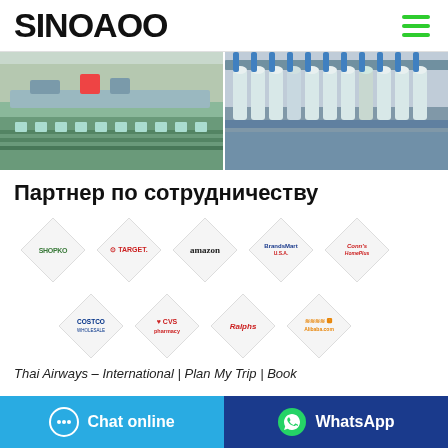SINOAOO
[Figure (photo): Two manufacturing facility photos showing industrial textile/winding machinery on a conveyor line (left) and spinning machines with bobbins (right).]
Партнер по сотрудничеству
[Figure (infographic): Diamond-shaped logos of partner brands: Shopko, Target, amazon, BrandsMart USA, Conn's HomePlus, Costco, CVS pharmacy, Ralphs, Alibaba.com]
Thai Airways – International | Plan My Trip | Book
Chat online
WhatsApp